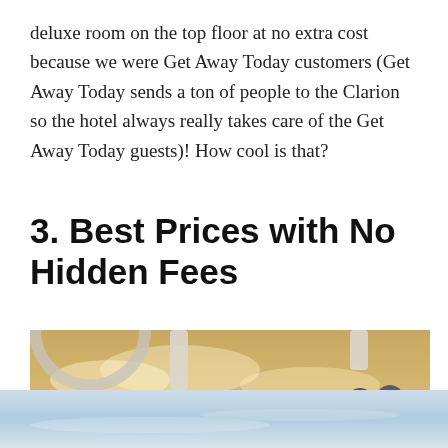deluxe room on the top floor at no extra cost because we were Get Away Today customers (Get Away Today sends a ton of people to the Clarion so the hotel always really takes care of the Get Away Today guests)! How cool is that?
3. Best Prices with No Hidden Fees
[Figure (photo): Photo of people on a Soarin' attraction ride with scenic mountain and valley landscape visible below them, taken from inside the ride vehicle looking outward.]
[Figure (photo): Partial photo visible at bottom of page showing what appears to be a water or aerial scene, with a circular close/dismiss button in the lower right corner.]